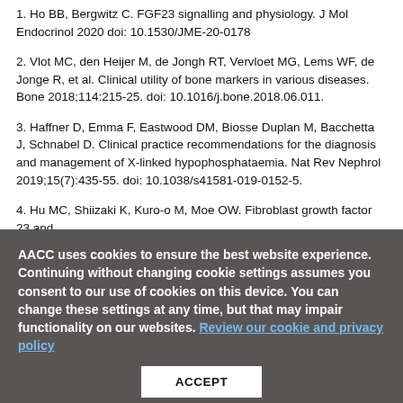1. Ho BB, Bergwitz C. FGF23 signalling and physiology. J Mol Endocrinol 2020 doi: 10.1530/JME-20-0178
2. Vlot MC, den Heijer M, de Jongh RT, Vervloet MG, Lems WF, de Jonge R, et al. Clinical utility of bone markers in various diseases. Bone 2018;114:215-25. doi: 10.1016/j.bone.2018.06.011.
3. Haffner D, Emma F, Eastwood DM, Biosse Duplan M, Bacchetta J, Schnabel D. Clinical practice recommendations for the diagnosis and management of X-linked hypophosphataemia. Nat Rev Nephrol 2019;15(7):435-55. doi: 10.1038/s41581-019-0152-5.
4. Hu MC, Shiizaki K, Kuro-o M, Moe OW. Fibroblast growth factor 23 and...
AACC uses cookies to ensure the best website experience. Continuing without changing cookie settings assumes you consent to our use of cookies on this device. You can change these settings at any time, but that may impair functionality on our websites. Review our cookie and privacy policy
ACCEPT